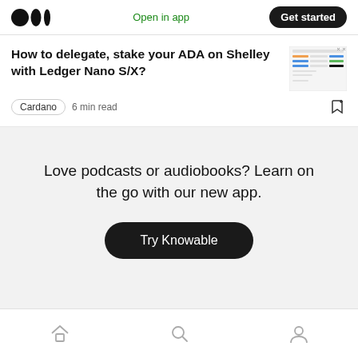Open in app | Get started
How to delegate, stake your ADA on Shelley with Ledger Nano S/X?
Cardano  6 min read
Love podcasts or audiobooks? Learn on the go with our new app.
Try Knowable
Home | Search | Profile